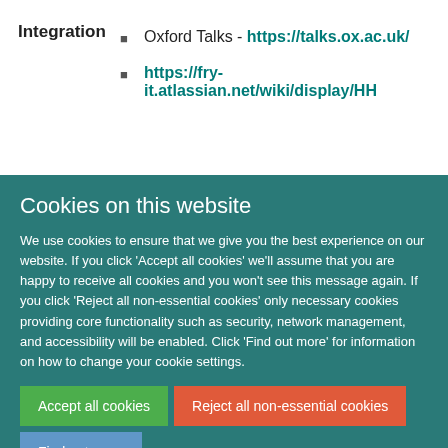Integration
Oxford Talks - https://talks.ox.ac.uk/
https://fry-it.atlassian.net/wiki/display/HH
Cookies on this website
We use cookies to ensure that we give you the best experience on our website. If you click 'Accept all cookies' we'll assume that you are happy to receive all cookies and you won't see this message again. If you click 'Reject all non-essential cookies' only necessary cookies providing core functionality such as security, network management, and accessibility will be enabled. Click 'Find out more' for information on how to change your cookie settings.
Accept all cookies
Reject all non-essential cookies
Find out more